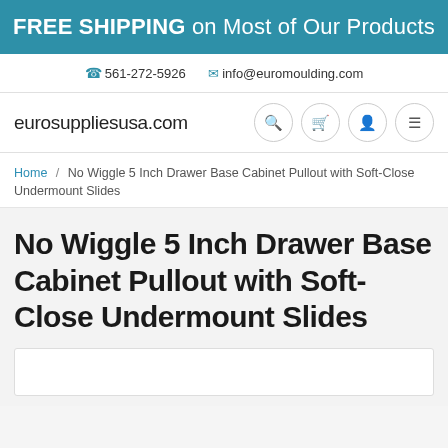FREE SHIPPING on Most of Our Products
561-272-5926   info@euromoulding.com
eurosuppliesusa.com
Home / No Wiggle 5 Inch Drawer Base Cabinet Pullout with Soft-Close Undermount Slides
No Wiggle 5 Inch Drawer Base Cabinet Pullout with Soft-Close Undermount Slides